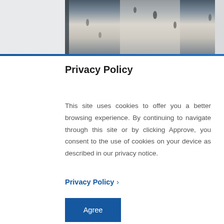[Figure (photo): Overhead view of a shopping mall or airport with people walking, viewed from above through glass ceiling panels]
Privacy Policy
This site uses cookies to offer you a better browsing experience. By continuing to navigate through this site or by clicking Approve, you consent to the use of cookies on your device as described in our privacy notice.
Privacy Policy >
Agree